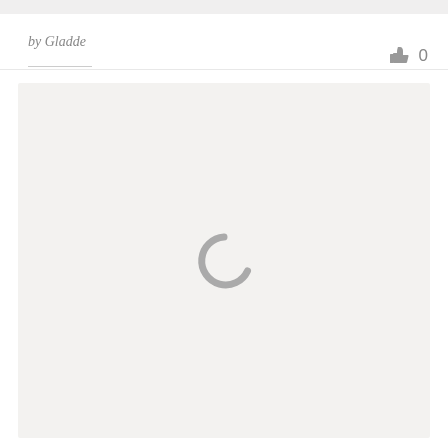by Gladde
[Figure (other): Thumbs up icon with like count 0]
[Figure (other): Loading spinner (partial circle arc) shown centered in a light gray content area]